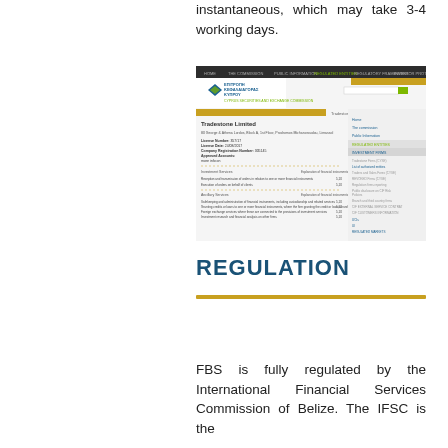instantaneous, which may take 3-4 working days.
[Figure (screenshot): Screenshot of the Cyprus Securities and Exchange Commission (CySEC) website showing Tradestone Limited's regulated entity profile page with license details and investment services listed.]
REGULATION
FBS is fully regulated by the International Financial Services Commission of Belize. The IFSC is the